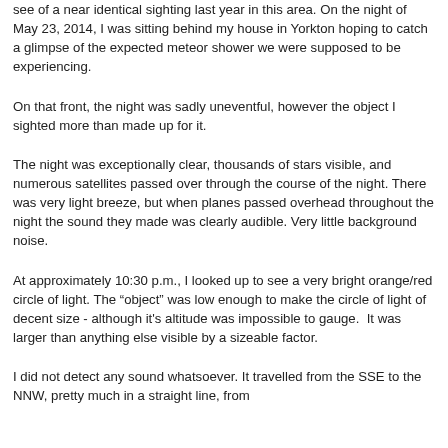see of a near identical sighting last year in this area. On the night of May 23, 2014, I was sitting behind my house in Yorkton hoping to catch a glimpse of the expected meteor shower we were supposed to be experiencing.
On that front, the night was sadly uneventful, however the object I sighted more than made up for it.
The night was exceptionally clear, thousands of stars visible, and numerous satellites passed over through the course of the night. There was very light breeze, but when planes passed overhead throughout the night the sound they made was clearly audible. Very little background noise.
At approximately 10:30 p.m., I looked up to see a very bright orange/red circle of light. The “object” was low enough to make the circle of light of decent size - although it's altitude was impossible to gauge.  It was larger than anything else visible by a sizeable factor.
I did not detect any sound whatsoever. It travelled from the SSE to the NNW, pretty much in a straight line, from